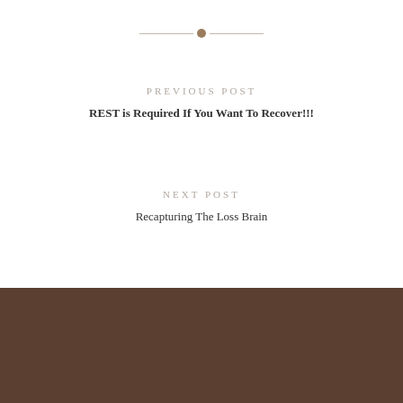PREVIOUS POST
REST is Required If You Want To Recover!!!
NEXT POST
Recapturing The Loss Brain
12 Comments
ADD YOURS